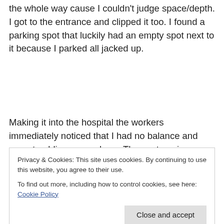the whole way cause I couldn't judge space/depth. I got to the entrance and clipped it too. I found a parking spot that luckily had an empty spot next to it because I parked all jacked up.
Making it into the hospital the workers immediately noticed that I had no balance and was stumbling everywhere. They got me in a wheel chair and I couldn't even spit an English word. They...
Privacy & Cookies: This site uses cookies. By continuing to use this website, you agree to their use. To find out more, including how to control cookies, see here: Cookie Policy
being abused and scared, holding my head cause the pain